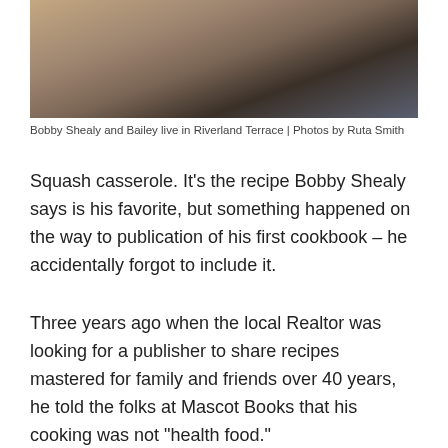[Figure (photo): Close-up photo of an elderly person's hands resting together, wearing a blue shirt, with a light background.]
Bobby Shealy and Bailey live in Riverland Terrace | Photos by Ruta Smith
Squash casserole. It’s the recipe Bobby Shealy says is his favorite, but something happened on the way to publication of his first cookbook – he accidentally forgot to include it.
Three years ago when the local Realtor was looking for a publisher to share recipes mastered for family and friends over 40 years, he told the folks at Mascot Books that his cooking was not “health food.”